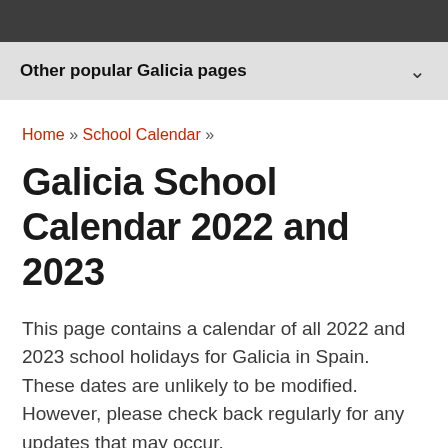Other popular Galicia pages
Home » School Calendar »
Galicia School Calendar 2022 and 2023
This page contains a calendar of all 2022 and 2023 school holidays for Galicia in Spain. These dates are unlikely to be modified. However, please check back regularly for any updates that may occur.